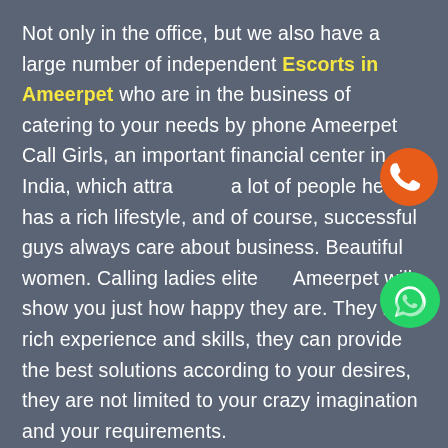Not only in the office, but we also have a large number of independent Escorts in Ameerpet who are in the business of catering to your needs by phone Ameerpet Call Girls, an important financial center in India, which attracts a lot of people here has a rich lifestyle, and of course, successful guys always care about business. Beautiful women. Calling ladies elite Ameerpet will show you just how happy they are. They have rich experience and skills, they can provide the best solutions according to your desires, they are not limited to your crazy imagination and your requirements.
Why Choose TawkGirls Escort Agency in Ameerpet?